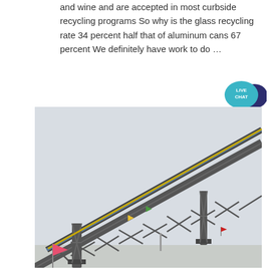and wine and are accepted in most curbside recycling programs So why is the glass recycling rate 34 percent half that of aluminum cans 67 percent We definitely have work to do ...
[Figure (photo): An industrial conveyor belt structure elevated on steel lattice truss supports, photographed from below at an angle against a pale overcast sky. Small colorful flags are visible on the conveyor. A pink flag is visible in the lower left foreground.]